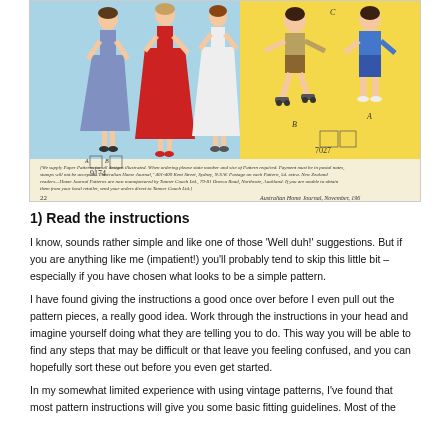[Figure (illustration): Vintage sewing pattern illustration showing girls in dresses (pattern 9174) on a blue background and boys in play clothes (pattern 7027) on a yellow background. Caption text at bottom reads ordering information for Australian Home Journal patterns.]
1) Read the instructions
I know, sounds rather simple and like one of those ‘Well duh!’ suggestions. But if you are anything like me (impatient!) you’ll probably tend to skip this little bit – especially if you have chosen what looks to be a simple pattern.
I have found giving the instructions a good once over before I even pull out the pattern pieces, a really good idea. Work through the instructions in your head and imagine yourself doing what they are telling you to do. This way you will be able to find any steps that may be difficult or that leave you feeling confused, and you can hopefully sort these out before you even get started.
In my somewhat limited experience with using vintage patterns, I’ve found that most pattern instructions will give you some basic fitting guidelines. Most of the time they are fast changing the length of the garment, but they also sometimes